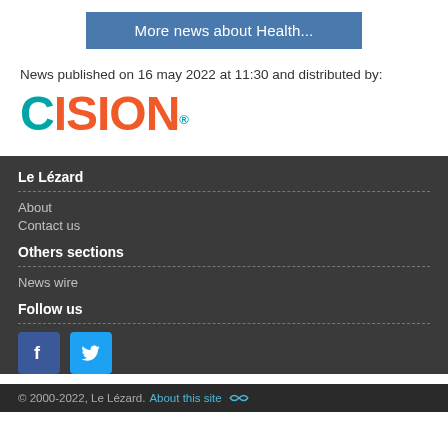More news about Health...
News published on 16 may 2022 at 11:30 and distributed by:
[Figure (logo): CISION logo in teal and orange colors]
Le Lézard
About
Contact us
Others sections
News wire
Follow us
[Figure (other): Facebook and Twitter social media icons]
© 2000-2022, Le Lézard. About this site